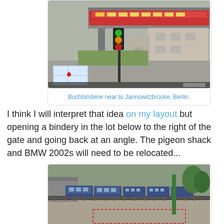[Figure (photo): Street view photo of a Buchbinderei (bookbindery) near Jannowitzbrücke, Berlin. Shows an elevated S-Bahn train on a bridge, traffic lights, graffiti-covered building, and a small map inset in the lower left corner.]
Buchbinderei near to Jannowitzbrücke, Berlin.
I think I will interpret that idea on my layout but opening a bindery in the lot below to the right of the gate and going back at an angle. The pigeon shack and BMW 2002s will need to be relocated...
[Figure (photo): Model railway layout photo showing blue locomotives and passenger cars on tracks, with a bridge structure, green trees, and a dashed red rectangle marking an area of interest.]